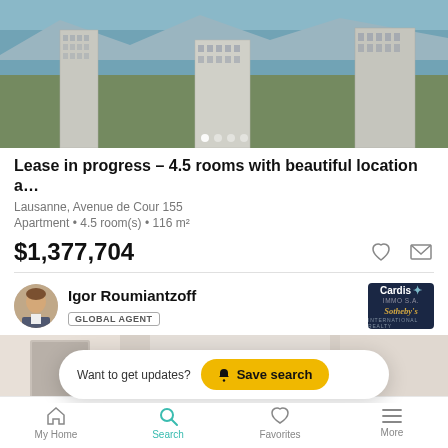[Figure (photo): Aerial view of apartment buildings in Lausanne with lake and mountains in background]
Lease in progress – 4.5 rooms with beautiful location a…
Lausanne, Avenue de Cour 155
Apartment • 4.5 room(s) • 116 m²
$1,377,704
Igor Roumiantzoff
GLOBAL AGENT
[Figure (logo): Cardis Immo S.A. Sotheby's International Realty agency logo]
[Figure (photo): Interior photo of apartment]
Want to get updates?  Save search